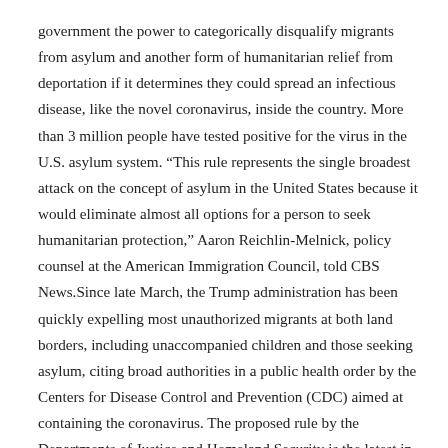government the power to categorically disqualify migrants from asylum and another form of humanitarian relief from deportation if it determines they could spread an infectious disease, like the novel coronavirus, inside the country. More than 3 million people have tested positive for the virus in the U.S. asylum system. “This rule represents the single broadest attack on the concept of asylum in the United States because it would eliminate almost all options for a person to seek humanitarian protection,” Aaron Reichlin-Melnick, policy counsel at the American Immigration Council, told CBS News.Since late March, the Trump administration has been quickly expelling most unauthorized migrants at both land borders, including unaccompanied children and those seeking asylum, citing broad authorities in a public health order by the Centers for Disease Control and Prevention (CDC) aimed at containing the coronavirus. The proposed rule by the Departments of Justice and Homeland Security is the latest in a series of actions the Trump administration has taken to restrict humanitarian programs that Congress established to provide refuge to foreigners fleeing persecution